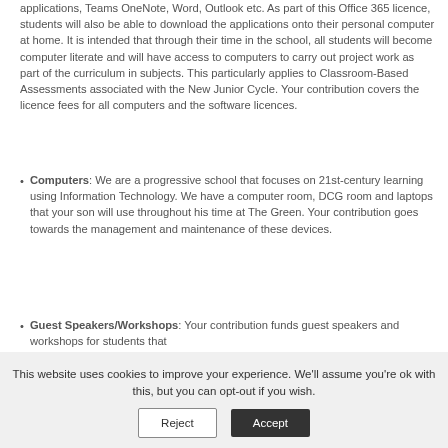applications, Teams OneNote, Word, Outlook etc. As part of this Office 365 licence, students will also be able to download the applications onto their personal computer at home. It is intended that through their time in the school, all students will become computer literate and will have access to computers to carry out project work as part of the curriculum in subjects. This particularly applies to Classroom-Based Assessments associated with the New Junior Cycle. Your contribution covers the licence fees for all computers and the software licences.
Computers: We are a progressive school that focuses on 21st-century learning using Information Technology. We have a computer room, DCG room and laptops that your son will use throughout his time at The Green. Your contribution goes towards the management and maintenance of these devices.
Guest Speakers/Workshops: Your contribution funds guest speakers and workshops for students that
This website uses cookies to improve your experience. We'll assume you're ok with this, but you can opt-out if you wish.